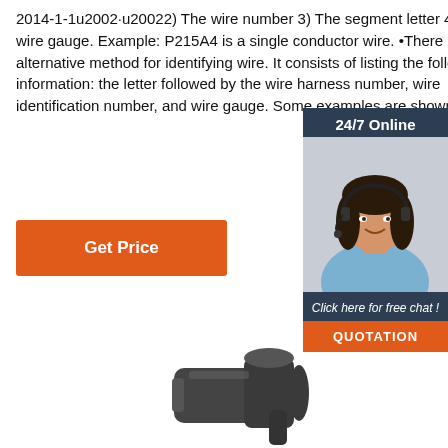2014-1-1u2002·u20022) The wire number 3) The segment letter 4) The wire gauge. Example: P215A4 is a single conductor wire. •There is an alternative method for identifying wire. It consists of listing the following information: the letter followed by the wire harness number, wire identification number, and wire gauge. Some examples are shown below.
[Figure (other): Get Price button - orange rectangular button with white text]
[Figure (photo): Live chat widget overlay: dark blue header with '24/7 Online', photo of woman with headset, dark blue footer with 'Click here for free chat!' text and orange QUOTATION button]
[Figure (photo): Product photo at bottom of page: dark gray electrical connector or wire harness component]